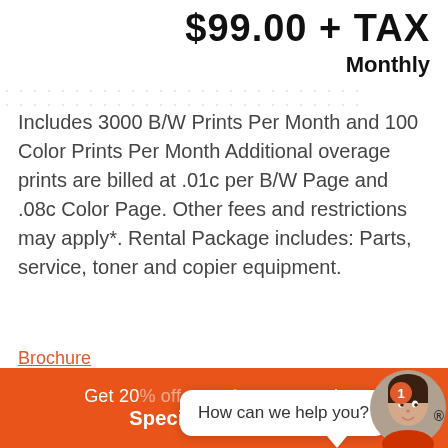$99.00 + TAX Monthly
Includes 3000 B/W Prints Per Month and 100 Color Prints Per Month Additional overage prints are billed at .01c per B/W Page and .08c Color Page. Other fees and restrictions may apply*. Rental Package includes: Parts, service, toner and copier equipment.
Brochure
COPIER RENTALS & LEASING MN
How can we help you?
Get 20% off any of our top copiers Special runs out in: